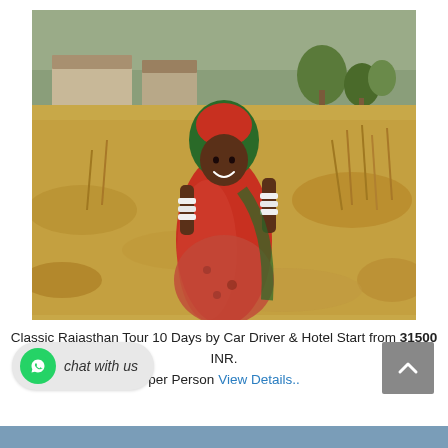[Figure (photo): A smiling Indian woman in a red and green sari with white bangles, standing in a field of dry golden grass/wheat with rural buildings and trees in the background.]
Classic Rajasthan Tour 10 Days by Car Driver & Hotel Start from 31500 INR. per Person View Details..
[Figure (other): WhatsApp chat button with green icon and 'chat with us' label]
[Figure (other): Back to top button (grey square with upward chevron)]